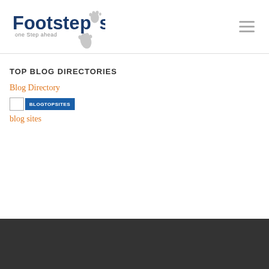[Figure (logo): Footsteps - one Step ahead logo with footprint icon]
TOP BLOG DIRECTORIES
Blog Directory
[Figure (screenshot): BlogTopSites badge with white square and blue BLOGTOPSITES label]
blog sites